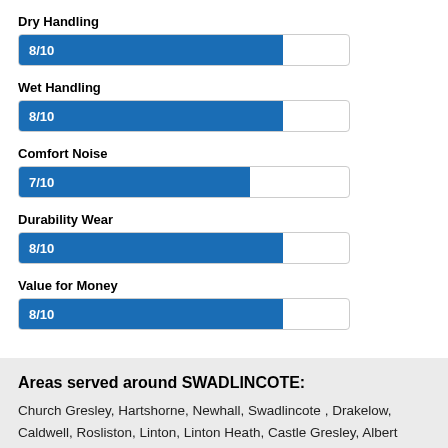[Figure (bar-chart): Ratings]
Areas served around SWADLINCOTE:
Church Gresley, Hartshorne, Newhall, Swadlincote , Drakelow, Caldwell, Rosliston, Linton, Linton Heath, Castle Gresley, Albert Village, Woodville, Boundary, Smisby, Boothorpe, Black Fordby,